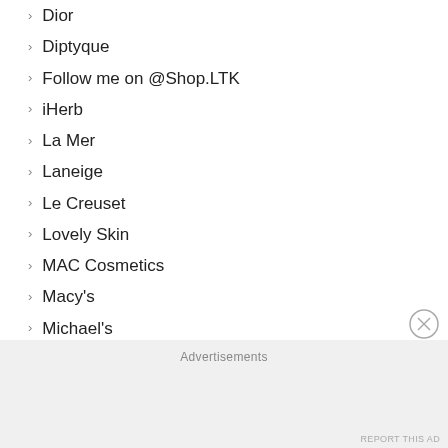Dior
Diptyque
Follow me on @Shop.LTK
iHerb
La Mer
Laneige
Le Creuset
Lovely Skin
MAC Cosmetics
Macy's
Michael's
Neiman Marcus
Nordstrom
Nordstrom Rack
Peach and Lily
QVC.com
Saks
Sephora (partially visible)
Advertisements